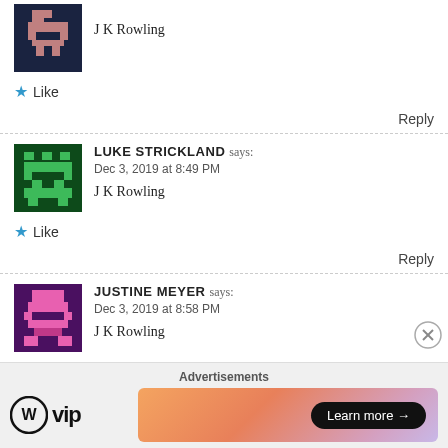[Figure (illustration): Pixel art avatar - dark blue/mauve character on dark navy background]
J K Rowling
★ Like
Reply
[Figure (illustration): Pixel art avatar - green character on dark green background]
LUKE STRICKLAND says:
Dec 3, 2019 at 8:49 PM
J K Rowling
★ Like
Reply
[Figure (illustration): Pixel art avatar - pink character on dark purple background]
JUSTINE MEYER says:
Dec 3, 2019 at 8:58 PM
J K Rowling
Advertisements
[Figure (logo): WordPress VIP logo with circle W icon and 'vip' text]
[Figure (illustration): Colorful gradient advertisement banner with Learn more button]